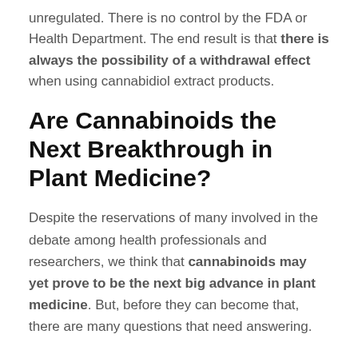unregulated. There is no control by the FDA or Health Department. The end result is that there is always the possibility of a withdrawal effect when using cannabidiol extract products.
Are Cannabinoids the Next Breakthrough in Plant Medicine?
Despite the reservations of many involved in the debate among health professionals and researchers, we think that cannabinoids may yet prove to be the next big advance in plant medicine. But, before they can become that, there are many questions that need answering.
What, for example, is the best dose for each